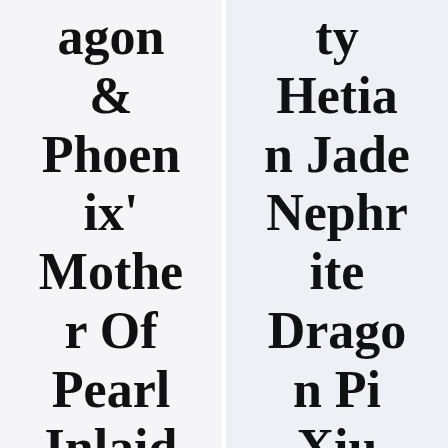agon & Phoenix' Mother Of Pearl Inlaid Tray
ty Hetian Jade Nephrite Dragon Pi Xiu Yu